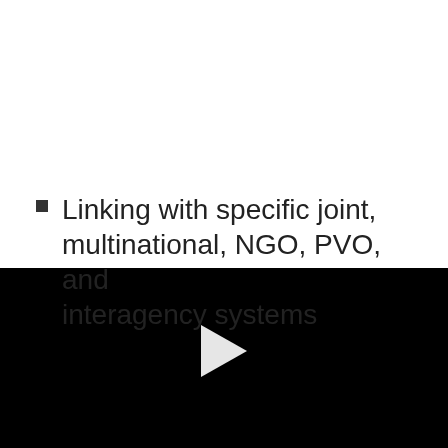Linking with specific joint, multinational, NGO, PVO, and interagency systems
[Figure (other): Black video player area with a white play button triangle in the center]